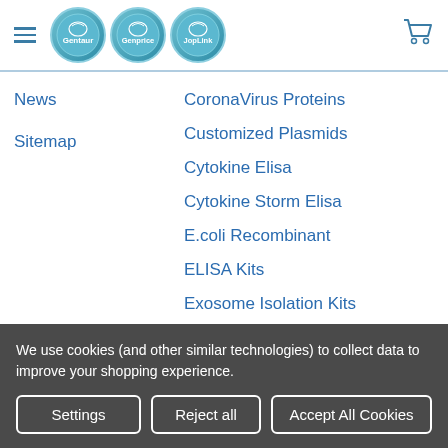Gentaur Genprice JopLink navigation header with logos and cart icon
News
Sitemap
CoronaVirus Proteins
Customized Plasmids
Cytokine Elisa
Cytokine Storm Elisa
E.coli Recombinant
ELISA Kits
Exosome Isolation Kits
We use cookies (and other similar technologies) to collect data to improve your shopping experience.
Settings | Reject all | Accept All Cookies